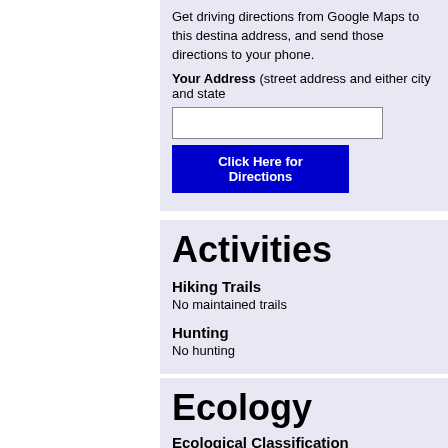Get driving directions from Google Maps to this destination address, and send those directions to your phone.
Your Address (street address and either city and state
[address input field]
Click Here for Directions
Activities
Hiking Trails
No maintained trails
Hunting
No hunting
Ecology
Ecological Classification